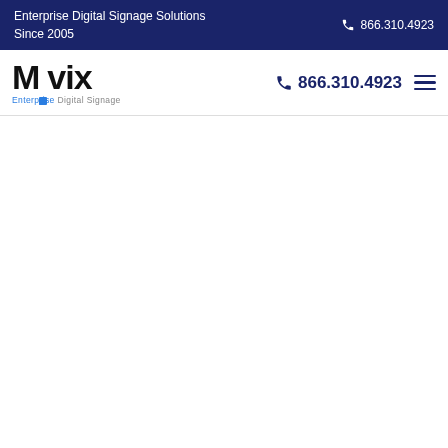Enterprise Digital Signage Solutions Since 2005 | 866.310.4923
[Figure (logo): Mvix Enterprise Digital Signage logo with stylized bold lettering and blue accent dot]
866.310.4923